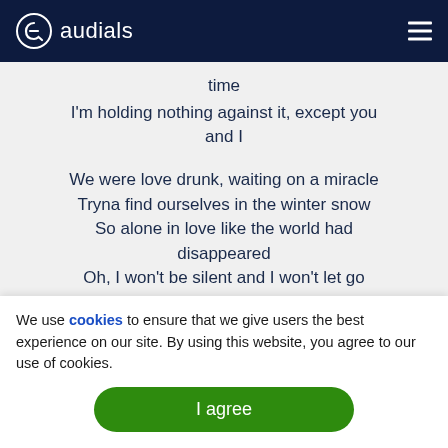audials
time
I'm holding nothing against it, except you and I
We were love drunk, waiting on a miracle
Tryna find ourselves in the winter snow
So alone in love like the world had disappeared
Oh, I won't be silent and I won't let go
We use cookies to ensure that we give users the best experience on our site. By using this website, you agree to our use of cookies.
I agree